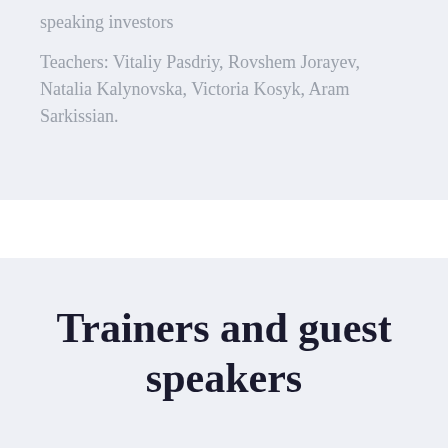speaking investors
Teachers: Vitaliy Pasdriy, Rovshem Jorayev, Natalia Kalynovska, Victoria Kosyk, Aram Sarkissian.
Trainers and guest speakers